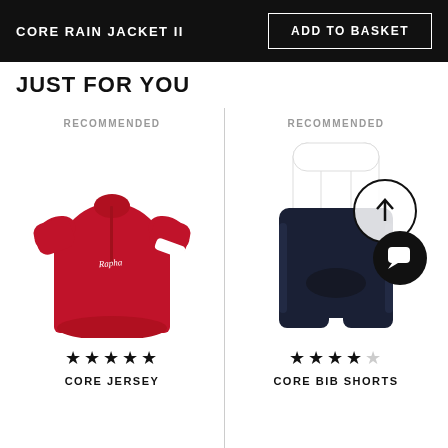CORE RAIN JACKET II | ADD TO BASKET
JUST FOR YOU
[Figure (photo): Red Rapha Core Jersey cycling shirt with white stripe on right sleeve, shown on white background. Labeled RECOMMENDED above. 5-star rating below. Product name: CORE JERSEY.]
[Figure (photo): Rapha Core Bib Shorts in navy/dark with white bib straps, shown on white background. Labeled RECOMMENDED above. An upward-arrow circle overlay and a black chat bubble icon overlay are visible. 4-star rating below. Product name: CORE BIB SHORTS.]